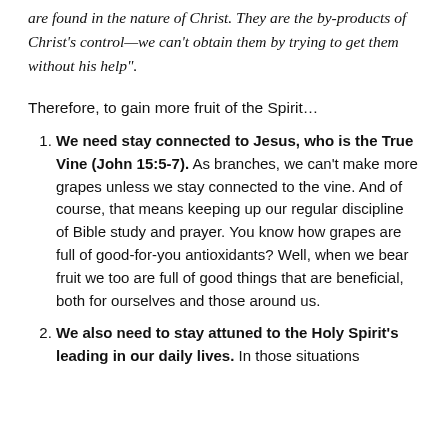are found in the nature of Christ. They are the by-products of Christ's control—we can't obtain them by trying to get them without his help".
Therefore, to gain more fruit of the Spirit…
We need stay connected to Jesus, who is the True Vine (John 15:5-7). As branches, we can't make more grapes unless we stay connected to the vine. And of course, that means keeping up our regular discipline of Bible study and prayer. You know how grapes are full of good-for-you antioxidants? Well, when we bear fruit we too are full of good things that are beneficial, both for ourselves and those around us.
We also need to stay attuned to the Holy Spirit's leading in our daily lives. In those situations…